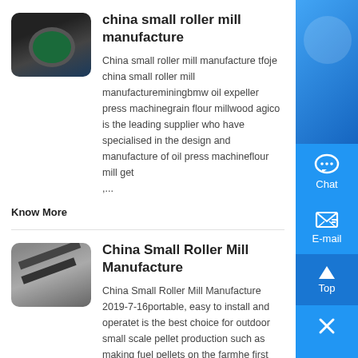[Figure (photo): Thumbnail of a roller mill machine, dark blue/black industrial equipment]
china small roller mill manufacture
China small roller mill manufacture tfoje china small roller mill manufactureminingbmw oil expeller press machinegrain flour millwood agico is the leading supplier who have specialised in the design and manufacture of oil press machineflour mill get ,...
Know More
[Figure (photo): Thumbnail of a conveyor belt or roller mill system, grey industrial equipment]
China Small Roller Mill Manufacture
China Small Roller Mill Manufacture 2019-7-16portable, easy to install and operatet is the best choice for outdoor small scale pellet production such as making fuel pellets on the farmhe first pellet mill manufacture in china to apply and promote pto driven pellet making machine...
Know More
[Figure (photo): Thumbnail of a small roller mill machine, grey/dark industrial equipment]
china small roller mill manufacture